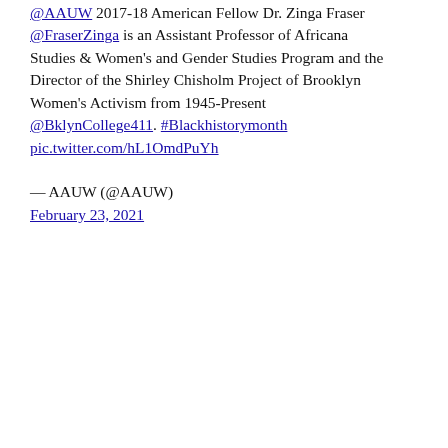@AAUW 2017-18 American Fellow Dr. Zinga Fraser @FraserZinga is an Assistant Professor of Africana Studies & Women's and Gender Studies Program and the Director of the Shirley Chisholm Project of Brooklyn Women's Activism from 1945-Present @BklynCollege411. #Blackhistorymonth pic.twitter.com/hL1OmdPuYh
— AAUW (@AAUW) February 23, 2021